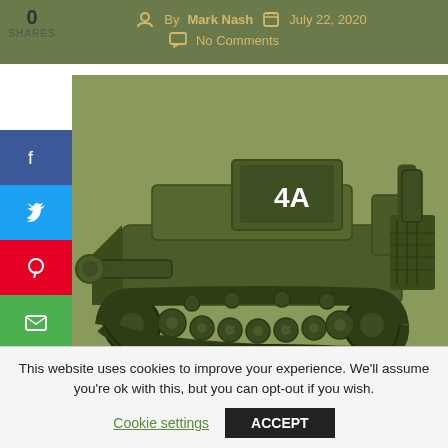By Mark Nash   July 22, 2020   No Comments
[Figure (illustration): 3D rendered illustration of a military tracked vehicle (tank/engineer vehicle) in olive green, labeled '4A', shown in side profile view against an olive-green background.]
Contents:
United Kingdom (1954)
This website uses cookies to improve your experience. We'll assume you're ok with this, but you can opt-out if you wish.
Cookie settings   ACCEPT